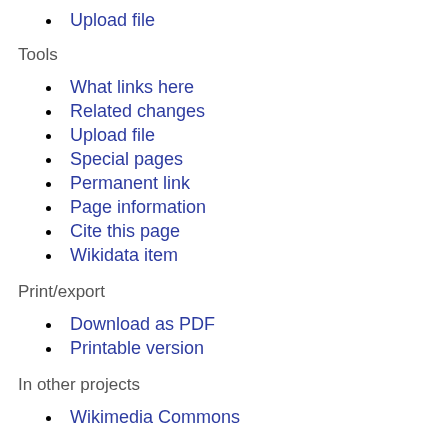Upload file
Tools
What links here
Related changes
Upload file
Special pages
Permanent link
Page information
Cite this page
Wikidata item
Print/export
Download as PDF
Printable version
In other projects
Wikimedia Commons